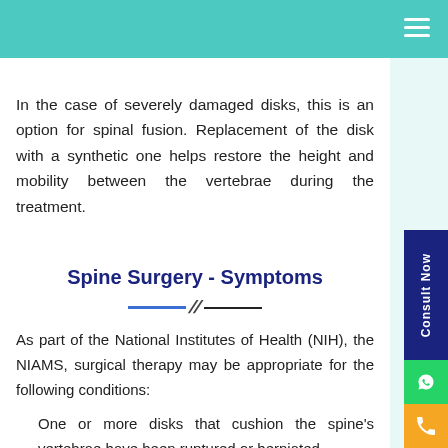In the case of severely damaged disks, this is an option for spinal fusion. Replacement of the disk with a synthetic one helps restore the height and mobility between the vertebrae during the treatment.
Spine Surgery - Symptoms
As part of the National Institutes of Health (NIH), the NIAMS, surgical therapy may be appropriate for the following conditions:
One or more disks that cushion the spine's vertebrae have been ruptured or herniated.
The pressure just on the spinal cord and